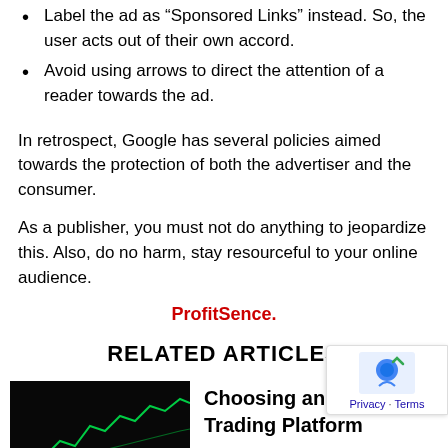Label the ad as “Sponsored Links” instead. So, the user acts out of their own accord.
Avoid using arrows to direct the attention of a reader towards the ad.
In retrospect, Google has several policies aimed towards the protection of both the advertiser and the consumer.
As a publisher, you must not do anything to jeopardize this. Also, do no harm, stay resourceful to your online audience.
ProfitSence.
RELATED ARTICLES
Choosing an Online Trading Platform
[Figure (photo): Dark background image showing green trading chart lines, used as thumbnail for Related Articles.]